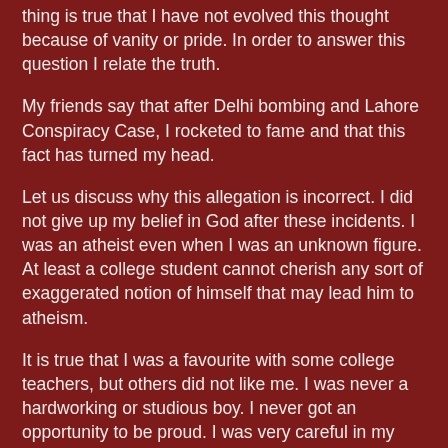thing is true that I have not evolved this thought because of vanity or pride. In order to answer this question I relate the truth.
My friends say that after Delhi bombing and Lahore Conspiracy Case, I rocketed to fame and that this fact has turned my head.
Let us discuss why this allegation is incorrect. I did not give up my belief in God after these incidents. I was an atheist even when I was an unknown figure. At least a college student cannot cherish any sort of exaggerated notion of himself that may lead him to atheism.
It is true that I was a favourite with some college teachers, but others did not like me. I was never a hardworking or studious boy. I never got an opportunity to be proud. I was very careful in my behaviour and somewhat pessimistic about my future career.
I was not completely atheistic in my beliefs. I was brought up under the care and protection of my father. He was a